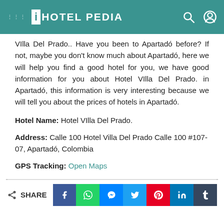Hotel Pedia
VIlla Del Prado.. Have you been to Apartadó before? If not, maybe you don't know much about Apartadó, here we will help you find a good hotel for you, we have good information for you about Hotel VIlla Del Prado. in Apartadó, this information is very interesting because we will tell you about the prices of hotels in Apartadó.
Hotel Name: Hotel VIlla Del Prado.
Address: Calle 100 Hotel Villa Del Prado Calle 100 #107-07, Apartadó, Colombia
GPS Tracking: Open Maps